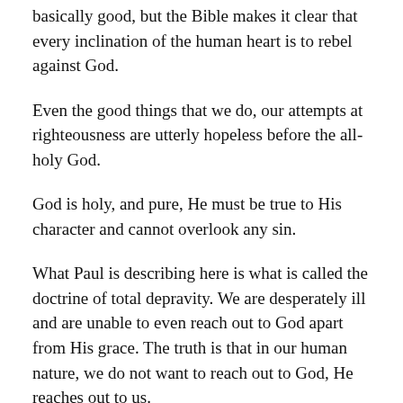basically good, but the Bible makes it clear that every inclination of the human heart is to rebel against God.
Even the good things that we do, our attempts at righteousness are utterly hopeless before the all-holy God.
God is holy, and pure, He must be true to His character and cannot overlook any sin.
What Paul is describing here is what is called the doctrine of total depravity. We are desperately ill and are unable to even reach out to God apart from His grace. The truth is that in our human nature, we do not want to reach out to God, He reaches out to us.
The good news is that God poured out His wrath on Jesus as we remembered last weekend. Jesus drank the